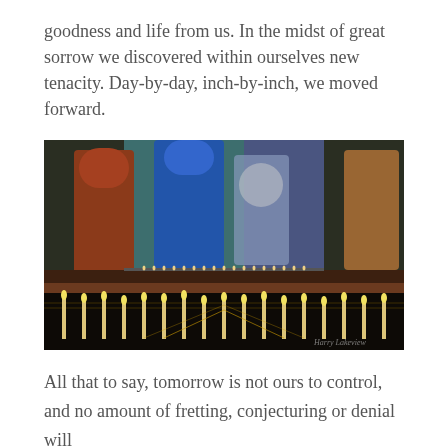goodness and life from us. In the midst of great sorrow we discovered within ourselves new tenacity. Day-by-day, inch-by-inch, we moved forward.
[Figure (photo): Religious icon painting showing robed figures, with candles lit in the foreground. The upper portion shows colorful Byzantine-style figures in blue and red robes against a dark background with small candles at their feet. The lower portion shows a row of tall lit candles in front of an ornate altar rail, with a photographer watermark in the bottom right.]
All that to say, tomorrow is not ours to control, and no amount of fretting, conjecturing or denial will